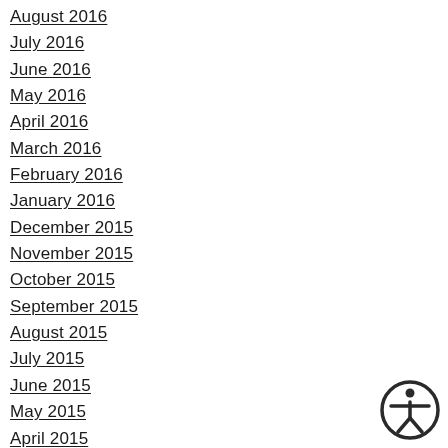August 2016
July 2016
June 2016
May 2016
April 2016
March 2016
February 2016
January 2016
December 2015
November 2015
October 2015
September 2015
August 2015
July 2015
June 2015
May 2015
April 2015
March 2015
[Figure (illustration): Accessibility icon: circular badge with a person figure in the center, dark circle border]